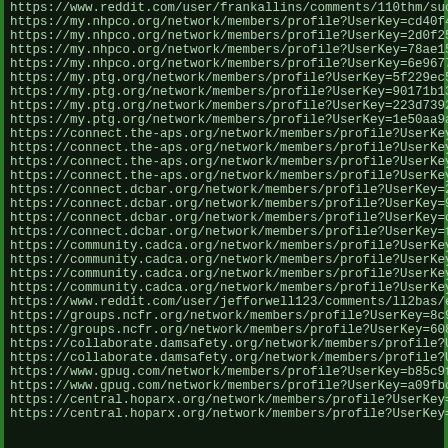https://www.reddit.com/user/frankallins/comments/110thm/succ
https://my.nhpco.org/network/members/profile?UserKey=cd40f4
https://my.nhpco.org/network/members/profile?UserKey=2d0f25
https://my.nhpco.org/network/members/profile?UserKey=78ae15
https://my.nhpco.org/network/members/profile?UserKey=6e9677
https://my.ptg.org/network/members/profile?UserKey=5f229ec5
https://my.ptg.org/network/members/profile?UserKey=90171b13
https://my.ptg.org/network/members/profile?UserKey=223d7392
https://my.ptg.org/network/members/profile?UserKey=1e50aa9a
https://connect.the-aps.org/network/members/profile?UserKey
https://connect.the-aps.org/network/members/profile?UserKey
https://connect.the-aps.org/network/members/profile?UserKey
https://connect.the-aps.org/network/members/profile?UserKey
https://connect.dcbar.org/network/members/profile?UserKey=2
https://connect.dcbar.org/network/members/profile?UserKey=9
https://connect.dcbar.org/network/members/profile?UserKey=c
https://connect.dcbar.org/network/members/profile?UserKey=f
https://community.cadca.org/network/members/profile?UserKey
https://community.cadca.org/network/members/profile?UserKey
https://community.cadca.org/network/members/profile?UserKey
https://community.cadca.org/network/members/profile?UserKey
https://www.reddit.com/user/jefforwell123/comments/ll2bas/e
https://groups.ncfr.org/network/members/profile?UserKey=8c9
https://groups.ncfr.org/network/members/profile?UserKey=608
https://collaborate.damsafety.org/network/members/profile?U
https://collaborate.damsafety.org/network/members/profile?U
https://www.gpug.com/network/members/profile?UserKey=b85c9f
https://www.gpug.com/network/members/profile?UserKey=a09fbc
https://central.hoparx.org/network/members/profile?UserKey=
https://central.hoparx.org/network/members/profile?UserKey=